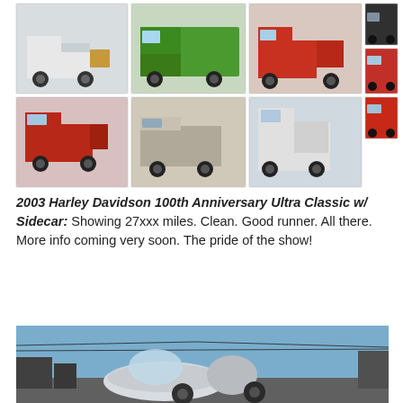[Figure (photo): Grid of 8 vehicle photos showing various dump trucks, pickup trucks, and a utility truck. Top row: white dump truck, green garbage truck, red dump truck. Right column top: dark pickup truck (small), red pickup truck (small). Bottom row: red GMC pickup, black/white flatbed, white utility truck. Right column bottom: red pickup truck (small).]
2003 Harley Davidson 100th Anniversary Ultra Classic w/ Sidecar: Showing 27xxx miles. Clean. Good runner. All there. More info coming very soon. The pride of the show!
[Figure (photo): Photo of a 2003 Harley Davidson 100th Anniversary Ultra Classic with Sidecar, showing chrome/silver sidecar and fairing, outdoors with blue sky background and buildings visible.]